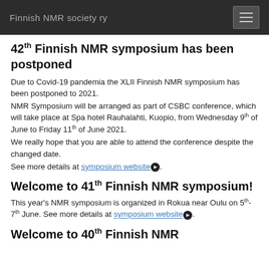Finnish NMR society ry
42th Finnish NMR symposium has been postponed
Due to Covid-19 pandemia the XLII Finnish NMR symposium has been postponed to 2021.
NMR Symposium will be arranged as part of CSBC conference, which will take place at Spa hotel Rauhalahti, Kuopio, from Wednesday 9th of June to Friday 11th of June 2021.
We really hope that you are able to attend the conference despite the changed date.
See more details at symposium website.
Welcome to 41th Finnish NMR symposium!
This year's NMR symposium is organized in Rokua near Oulu on 5th-7th June. See more details at symposium website.
Welcome to 40th Finnish NMR